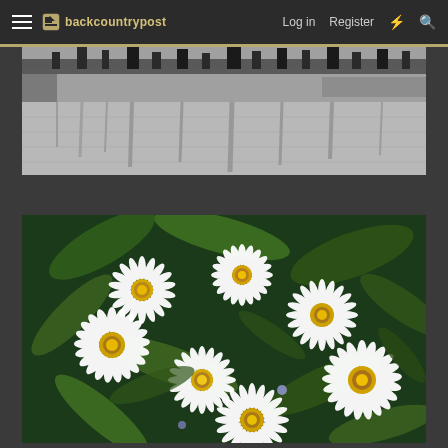backcountrypost | Log in | Register
[Figure (photo): Black and white photograph of a lake or river with reflections of trees on a calm water surface]
[Figure (photo): Close-up color photograph of multiple white daisy-like wildflowers (fleabane) with yellow centers, surrounded by green leaves and stems]